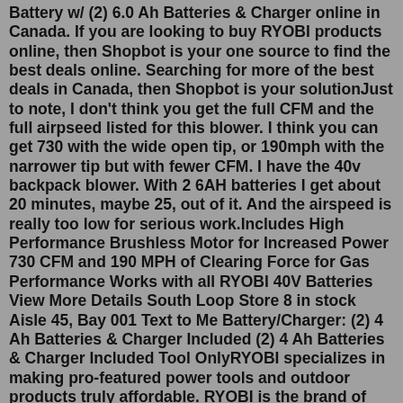Battery w/ (2) 6.0 Ah Batteries & Charger online in Canada. If you are looking to buy RYOBI products online, then Shopbot is your one source to find the best deals online. Searching for more of the best deals in Canada, then Shopbot is your solutionJust to note, I don't think you get the full CFM and the full airpseed listed for this blower. I think you can get 730 with the wide open tip, or 190mph with the narrower tip but with fewer CFM. I have the 40v backpack blower. With 2 6AH batteries I get about 20 minutes, maybe 25, out of it. And the airspeed is really too low for serious work.Includes High Performance Brushless Motor for Increased Power 730 CFM and 190 MPH of Clearing Force for Gas Performance Works with all RYOBI 40V Batteries View More Details South Loop Store 8 in stock Aisle 45, Bay 001 Text to Me Battery/Charger: (2) 4 Ah Batteries & Charger Included (2) 4 Ah Batteries & Charger Included Tool OnlyRYOBI specializes in making pro-featured power tools and outdoor products truly affordable. RYOBI is the brand of choice for milions